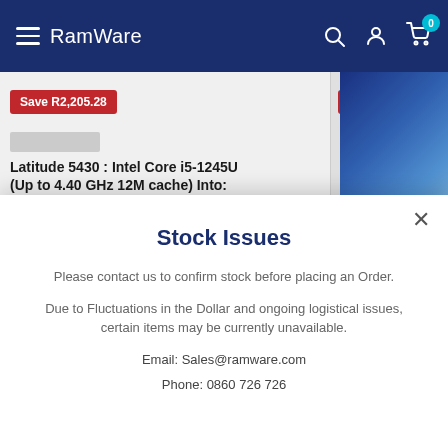RamWare
[Figure (screenshot): Product listing strip showing two save badges: 'Save R2,205.28' and 'Save R2,107.26', with product title 'Latitude 5430 : Intel Core i5-1245U (Up to 4.40 GHz 12M cache) Into:' and a laptop photo on the right]
Stock Issues
Please contact us to confirm stock before placing an Order.
Due to Fluctuations in the Dollar and ongoing logistical issues, certain items may be currently unavailable.
Email: Sales@ramware.com
Phone: 0860 726 726